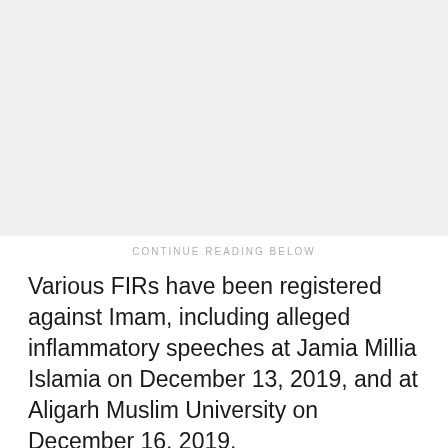[Figure (other): Gray placeholder image area at the top of the page]
CONTINUE READING BELOW
Various FIRs have been registered against Imam, including alleged inflammatory speeches at Jamia Millia Islamia on December 13, 2019, and at Aligarh Muslim University on December 16, 2019.